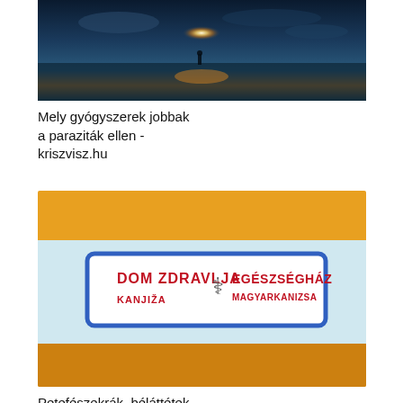[Figure (photo): Partial/cropped photo at top: dark scenic sky with sun reflection on water, silhouette of person in distance]
Mely gyógyszerek jobbak a paraziták ellen - kriszvisz.hu
[Figure (photo): Photo of a sign/label on a vehicle: DOM ZDRAVLJA KANJIZA (red text) and EGÉSZSÉGHÁZ MAGYARKANIZSA (red text), with medical snake symbol, blue rectangular border]
Petefészekrák, béláttétek
[Figure (photo): Close-up photo of infant/baby skin (hand/arm) with a small bump or wart visible]
Szemölcs eltávolítása és kezelése | BENU Gyógyszertárak